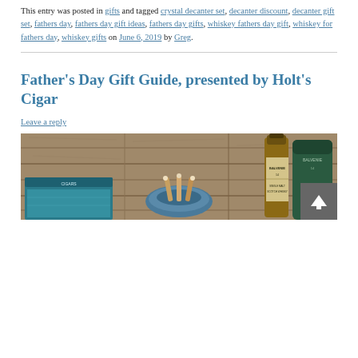This entry was posted in gifts and tagged crystal decanter set, decanter discount, decanter gift set, fathers day, fathers day gift ideas, fathers day gifts, whiskey fathers day gift, whiskey for fathers day, whiskey gifts on June 6, 2019 by Greg.
Father's Day Gift Guide, presented by Holt's Cigar
Leave a reply
[Figure (photo): Photo of cigars, an ashtray, and a whiskey bottle (Balvenie 14) on a wooden plank background, partially visible]